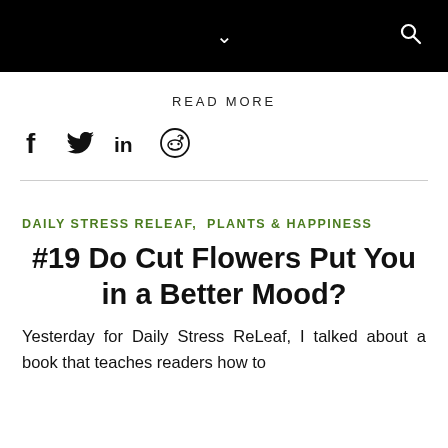Navigation bar with chevron and search icon
READ MORE
[Figure (other): Social media icons: Facebook (f), Twitter (bird), LinkedIn (in), Reddit (circle alien)]
DAILY STRESS RELEAF,  PLANTS & HAPPINESS
#19 Do Cut Flowers Put You in a Better Mood?
Yesterday for Daily Stress ReLeaf, I talked about a book that teaches readers how to